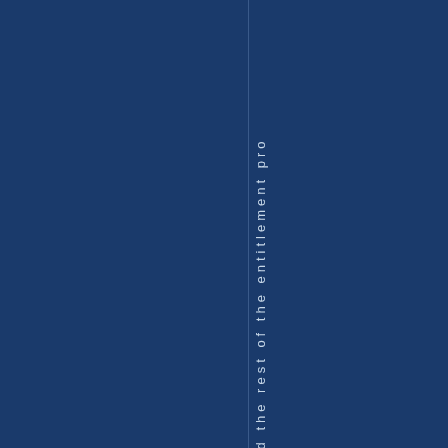[Figure (other): Dark navy blue background page with a thin vertical dividing line and rotated/vertical white text reading 'y and the rest of the entitlement pro' running vertically down the page]